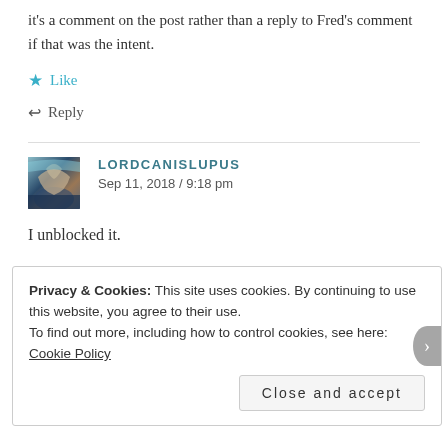it's a comment on the post rather than a reply to Fred's comment if that was the intent.
★ Like
↩ Reply
LORDCANISLUPUS
Sep 11, 2018 / 9:18 pm
I unblocked it.
Privacy & Cookies: This site uses cookies. By continuing to use this website, you agree to their use.
To find out more, including how to control cookies, see here: Cookie Policy
Close and accept